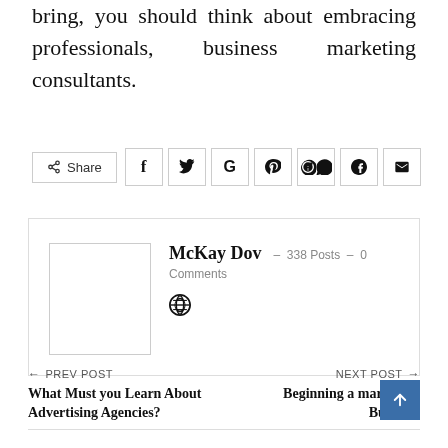bring, you should think about embracing professionals, business marketing consultants.
[Figure (other): Social share bar with Share button and icons for Facebook, Twitter, Google, Reddit, WhatsApp, Pinterest, Email]
[Figure (other): Author card showing McKay Dov - 338 Posts - 0 Comments with avatar placeholder and globe icon]
← PREV POST
What Must you Learn About Advertising Agencies?
NEXT POST →
Beginning a marketing Business